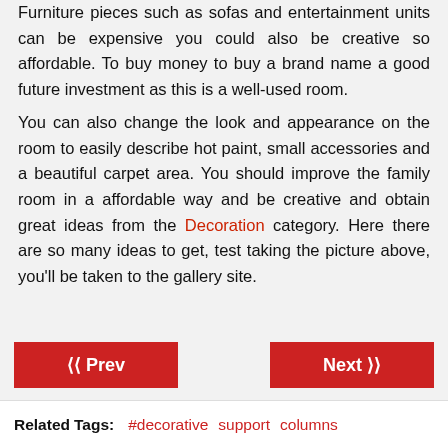Furniture pieces such as sofas and entertainment units can be expensive you could also be creative so affordable. To buy money to buy a brand name a good future investment as this is a well-used room.
You can also change the look and appearance on the room to easily describe hot paint, small accessories and a beautiful carpet area. You should improve the family room in a affordable way and be creative and obtain great ideas from the Decoration category. Here there are so many ideas to get, test taking the picture above, you'll be taken to the gallery site.
« Prev
Next »
Related Tags: #decorative support columns